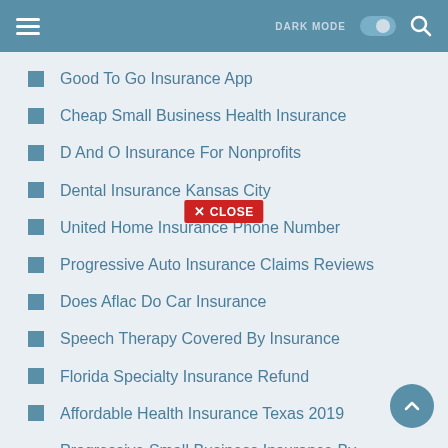DARK MODE [toggle] [search]
Good To Go Insurance App
Cheap Small Business Health Insurance
D And O Insurance For Nonprofits
✕ CLOSE
Dental Insurance Kansas City
United Home Insurance Phone Number
Progressive Auto Insurance Claims Reviews
Does Aflac Do Car Insurance
Speech Therapy Covered By Insurance
Florida Specialty Insurance Refund
Affordable Health Insurance Texas 2019
Progressive Small Business Insurance By Homesite
Colonial Health Insurance Reviews